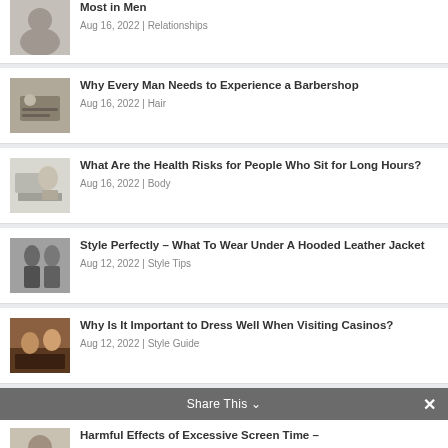Most in Men | Aug 16, 2022 | Relationships
Why Every Man Needs to Experience a Barbershop | Aug 16, 2022 | Hair
What Are the Health Risks for People Who Sit for Long Hours? | Aug 16, 2022 | Body
Style Perfectly – What To Wear Under A Hooded Leather Jacket | Aug 12, 2022 | Style Tips
Why Is It Important to Dress Well When Visiting Casinos? | Aug 12, 2022 | Style Guide
Harmful Effects of Excessive Screen Time –
Share This